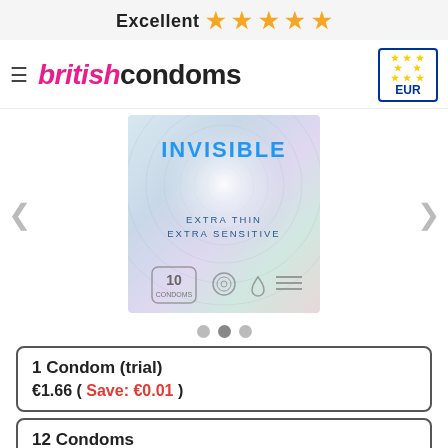Excellent ⭐⭐⭐⭐⭐
[Figure (logo): British Condoms logo with hamburger menu icon and EUR currency badge with EU flag stars]
[Figure (photo): Durex Invisible condom box — holographic silver/iridescent packaging, text: INVISIBLE, EXTRA THIN, EXTRA SENSITIVE, 10 CONDOMS with icons for ribbed, lubricated, and textured features]
1 Condom (trial)
€1.66 ( Save: €0.01 )
12 Condoms